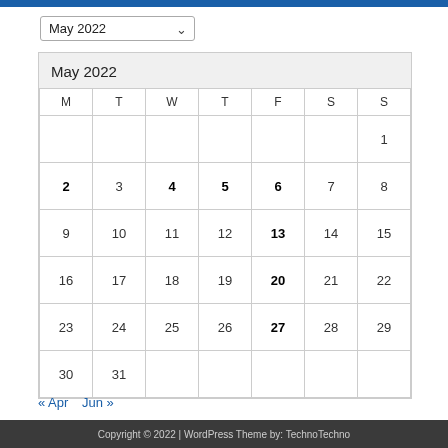| M | T | W | T | F | S | S |
| --- | --- | --- | --- | --- | --- | --- |
|  |  |  |  |  |  | 1 |
| 2 | 3 | 4 | 5 | 6 | 7 | 8 |
| 9 | 10 | 11 | 12 | 13 | 14 | 15 |
| 16 | 17 | 18 | 19 | 20 | 21 | 22 |
| 23 | 24 | 25 | 26 | 27 | 28 | 29 |
| 30 | 31 |  |  |  |  |  |
« Apr  Jun »
Copyright © 2022 | WordPress Theme by: TechnoTechno